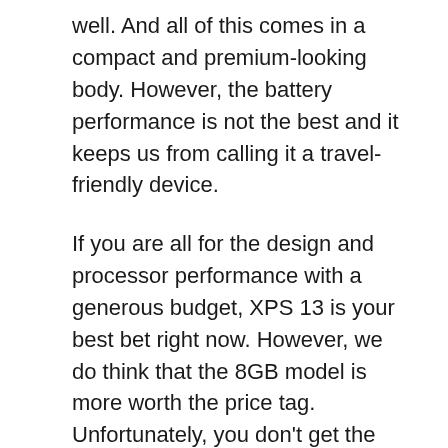well. And all of this comes in a compact and premium-looking body. However, the battery performance is not the best and it keeps us from calling it a travel-friendly device.
If you are all for the design and processor performance with a generous budget, XPS 13 is your best bet right now. However, we do think that the 8GB model is more worth the price tag. Unfortunately, you don't get the Frost exterior+Arctic White interior in the 8GB RAM model. Like we said before, Dell is not giving a whole lot of flexibility with XPS 13 variants, which may be a letdown for some.